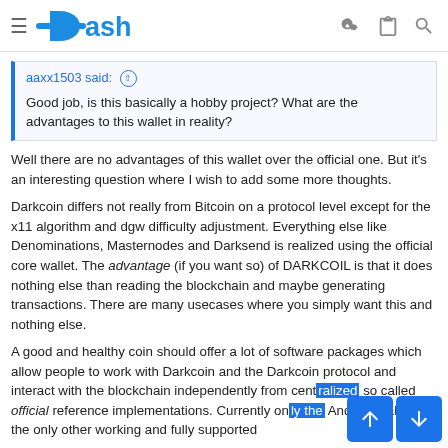Dash
aaxx1503 said: ↑

Good job, is this basically a hobby project? What are the advantages to this wallet in reality?
Well there are no advantages of this wallet over the official one. But it's an interesting question where I wish to add some more thoughts.
Darkcoin differs not really from Bitcoin on a protocol level except for the x11 algorithm and dgw difficulty adjustment. Everything else like Denominations, Masternodes and Darksend is realized using the official core wallet. The advantage (if you want so) of DARKCOIL is that it does nothing else than reading the blockchain and maybe generating transactions. There are many usecases where you simply want this and nothing else.
A good and healthy coin should offer a lot of software packages which allow people to work with Darkcoin and the Darkcoin protocol and interact with the blockchain independently from centralized so called official reference implementations. Currently only the Android wallet is the only other working and fully supported